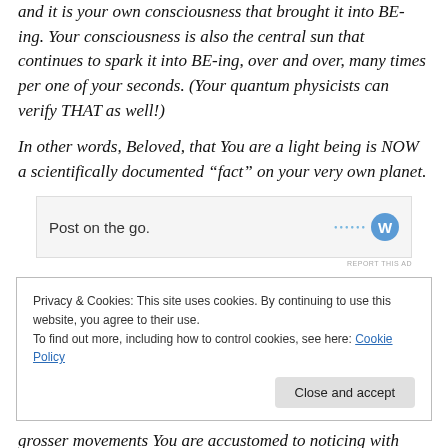and it is your own consciousness that brought it into BE-ing. Your consciousness is also the central sun that continues to spark it into BE-ing, over and over, many times per one of your seconds. (Your quantum physicists can verify THAT as well!)
In other words, Beloved, that You are a light being is NOW a scientifically documented “fact” on your very own planet.
[Figure (other): Advertisement banner with text 'Post on the go.' and a blue circular logo with W]
REPORT THIS AD
Privacy & Cookies: This site uses cookies. By continuing to use this website, you agree to their use.
To find out more, including how to control cookies, see here: Cookie Policy
Close and accept
grosser movements You are accustomed to noticing with